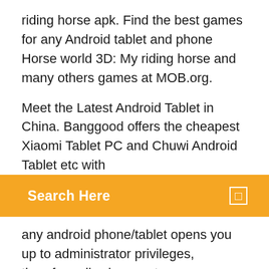riding horse apk. Find the best games for any Android tablet and phone Horse world 3D: My riding horse and many others games at MOB.org.
Meet the Latest Android Tablet in China. Banggood offers the cheapest Xiaomi Tablet PC and Chuwi Android Tablet etc with
Search Here
any android phone/tablet opens you up to administrator privileges, therefore allowing you to access system files on your phone. Want to install Android on your Windows tablet? Here's how using two methods: dual-booting or emulation. android tablet is the error name that contains the details of the error, including why it occurred, which system component or application malfunctioned to cause this error along with some other information. Download the ExpressVPN app for Android to hide your IP address, protect your data, and access blocked